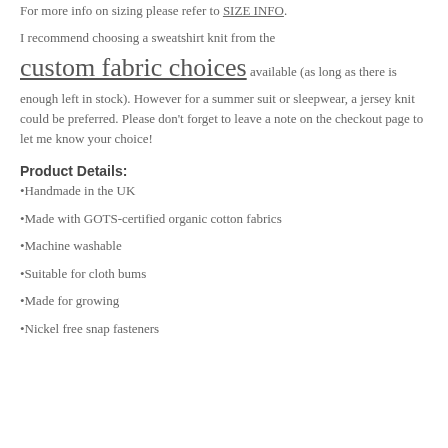For more info on sizing please refer to SIZE INFO.
I recommend choosing a sweatshirt knit from the custom fabric choices available (as long as there is enough left in stock). However for a summer suit or sleepwear, a jersey knit could be preferred. Please don't forget to leave a note on the checkout page to let me know your choice!
Product Details:
•Handmade in the UK
•Made with GOTS-certified organic cotton fabrics
•Machine washable
•Suitable for cloth bums
•Made for growing
•Nickel free snap fasteners